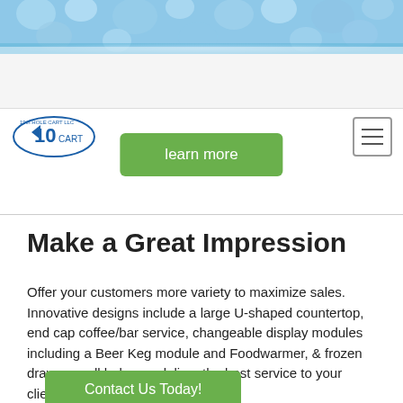[Figure (photo): Blue water droplets banner image across the top of the page]
[Figure (logo): 19th Hole Cart LLC logo with circular emblem showing number 10]
learn more
Make a Great Impression
Offer your customers more variety to maximize sales. Innovative designs include a large U-shaped countertop, end cap coffee/bar service, changeable display modules including a Beer Keg module and Foodwarmer, & frozen drawers - all help you deliver the best service to your clients.
Contact Us Today!